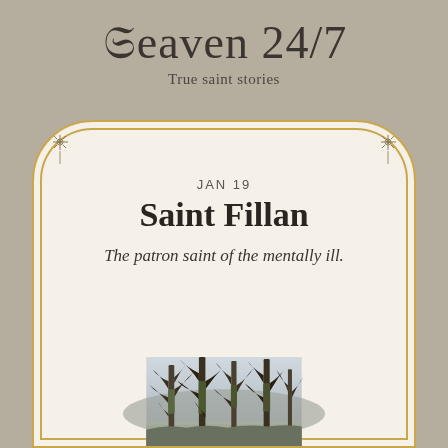Heaven 24/7
True saint stories
JAN 19
Saint Fillan
The patron saint of the mentally ill.
[Figure (photo): Bare winter trees with moss-covered trunks in a misty landscape, viewed in natural light]